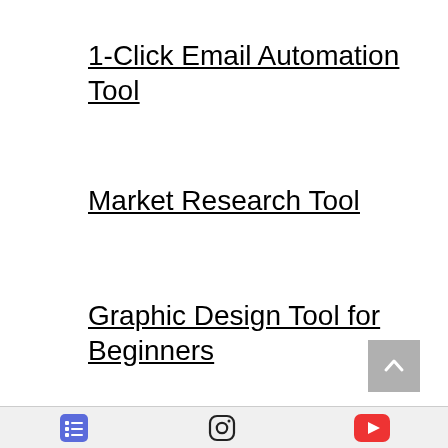1-Click Email Automation Tool
Market Research Tool
Graphic Design Tool for Beginners
[Figure (other): Back to top arrow button (grey square with upward chevron)]
[Figure (other): Footer navigation bar with three icons: a list/menu icon (blue), an Instagram icon (black), and a YouTube icon (red)]